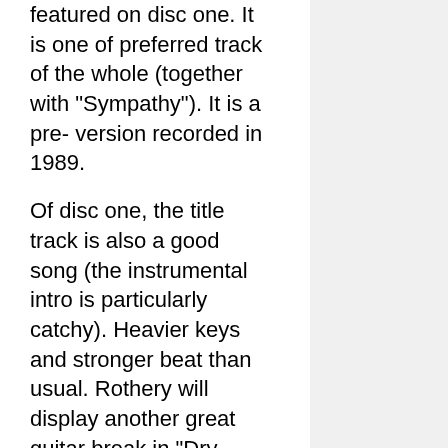featured on disc one. It is one of preferred track of the whole (together with "Sympathy"). It is a pre- version recorded in 1989.
Of disc one, the title track is also a good song (the instrumental intro is particularly catchy). Heavier keys and stronger beat than usual. Rothery will display another great guitar break in "Dry Land", another good and melodic song actually. "Splintering Heart" in its final release only stands out thanks to another great Rothery solo (we are fortunate to have him here). "Cover My Eyes" is one of the very few songs that I prefer in its original format.
The numbers I prefer on this album are the harder ones, definitely. The great work from Steve Rothery must be rewarded as well: he really did a great job. I would rate this album five out of ten and upgrade it to three stars thanks to the bonus disc (but as such the original